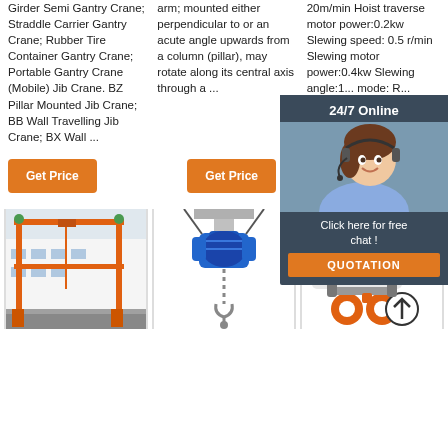Girder Semi Gantry Crane; Straddle Carrier Gantry Crane; Rubber Tire Container Gantry Crane; Portable Gantry Crane (Mobile) Jib Crane. BZ Pillar Mounted Jib Crane; BB Wall Travelling Jib Crane; BX Wall ...
arm; mounted either perpendicular to or an acute angle upwards from a column (pillar), may rotate along its central axis through a ...
20m/min Hoist traverse motor power:0.2kw Slewing speed: 0.5 r/min Slewing motor power:0.4kw Slewing angle:1... mode: R... control W... voltage: 50HZ 3P... Sets LH...
Get Price
Get Price
Get P...
24/7 Online
Click here for free chat!
QUOTATION
[Figure (photo): Gantry crane with orange frame structure in an outdoor industrial facility]
[Figure (photo): Blue electric chain hoist with hook suspended from I-beam]
[Figure (photo): Industrial crane component with mechanical parts and orange detail elements]